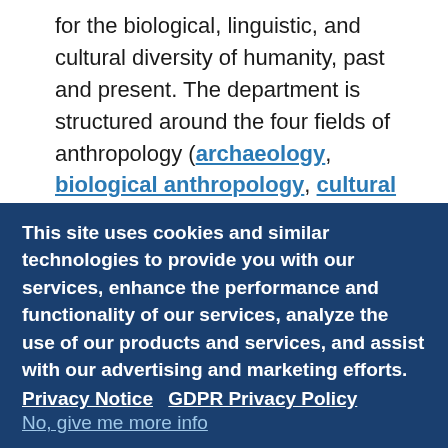for the biological, linguistic, and cultural diversity of humanity, past and present. The department is structured around the four fields of anthropology (archaeology, biological anthropology, cultural anthropology, and linguistic anthropology), and undergraduates are encouraged to take courses in all four fields to gain a more comprehensive understanding of the discipline as a whole.
This site uses cookies and similar technologies to provide you with our services, enhance the performance and functionality of our services, analyze the use of our products and services, and assist with our advertising and marketing efforts.  Privacy Notice   GDPR Privacy Policy No, give me more info